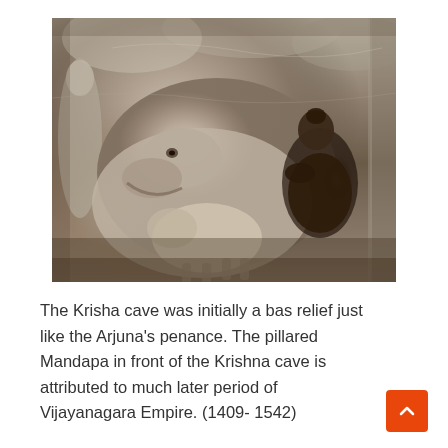[Figure (photo): Stone bas relief carving from the Krishna cave at Mahabalipuram showing a large figure resembling a cow or bull in the center-left, and a human figure in a devotional/penance posture on the right side, with other carved figures visible in the background.]
The Krisha cave was initially a bas relief just like the Arjuna's penance. The pillared Mandapa in front of the Krishna cave is attributed to much later period of Vijayanagara Empire. (1409- 1542)